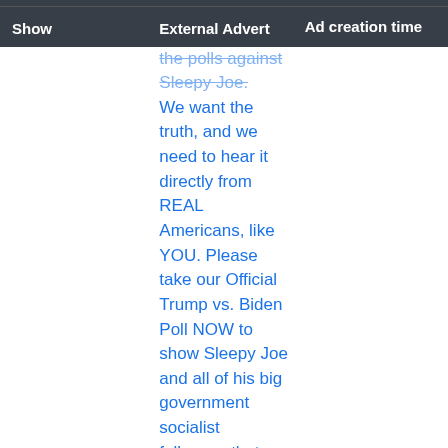| Show | External Advert | Ad creation time |
| --- | --- | --- |
|  | the polls against Sleepy Joe. We want the truth, and we need to hear it directly from REAL Americans, like YOU. Please take our Official Trump vs. Biden Poll NOW to show Sleepy Joe and all of his big government socialist followers that REAL AMERICANS want FOUR MORE YEARS. |  |
| Decoded / Raw | Help us hit 1 MILLION responses! President Trump knows that the Fake News Media will NEVER report | 2020-08-18 13:43:51 UTC |